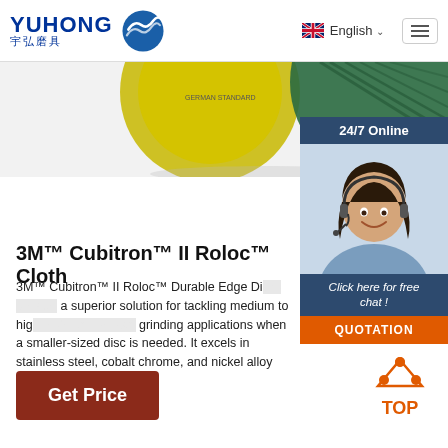YUHONG 宇弘磨具 — English navigation header with hamburger menu
[Figure (photo): Partial view of abrasive flap discs (yellow and green) on a white/grey background]
[Figure (photo): 24/7 Online customer service widget showing a smiling woman with headset, 'Click here for free chat!' text, and QUOTATION button]
3M™ Cubitron™ II Roloc™ Cloth
3M™ Cubitron™ II Roloc™ Durable Edge Di... a superior solution for tackling medium to hig... grinding applications when a smaller-sized disc is needed. It excels in stainless steel, cobalt chrome, and nickel alloy applications.
[Figure (other): Get Price button (brown/red background)]
[Figure (other): TOP scroll-to-top button with orange triangle dots and 'TOP' text]